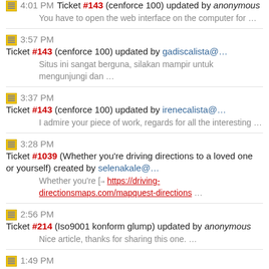4:01 PM Ticket #143 (cenforce 100) updated by anonymous — You have to open the web interface on the computer for …
3:57 PM Ticket #143 (cenforce 100) updated by gadiscalista@… — Situs ini sangat berguna, silakan mampir untuk mengunjungi dan …
3:37 PM Ticket #143 (cenforce 100) updated by irenecalista@… — I admire your piece of work, regards for all the interesting …
3:28 PM Ticket #1039 (Whether you're driving directions to a loved one or yourself) created by selenakale@… — Whether you're [=> https://driving-directionsmaps.com/mapquest-directions …
2:56 PM Ticket #214 (Iso9001 konform glump) updated by anonymous — Nice article, thanks for sharing this one. …
1:49 PM Ticket #537 (HD Streamz sssAPK Mod No ads – Live broadcast TV) updated by anonymous — with great fonts, styles of all kinds of fonts One of the …